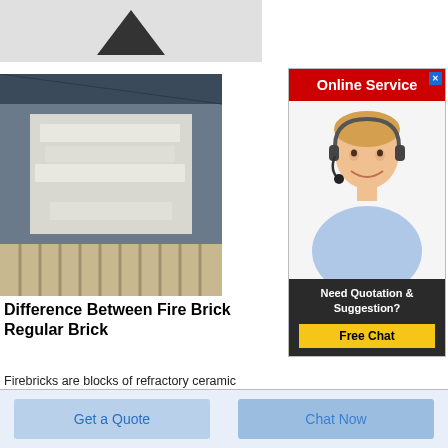[Figure (photo): Top partial image showing a dark downward-pointing triangle/arrow shape on a light background]
[Figure (photo): Photo of white refractory fire bricks stacked on shelves in a warehouse/factory]
Difference Between Fire Brick Regular Brick
Firebricks are blocks of refractory ceramic materials used to line
[Figure (infographic): Online Service advertisement panel with red header, photo of smiling woman with headset, and Free Chat button. Header: Online Service. Body text: Need Quotation & Suggestion? Button: Free Chat]
Get a Quote
Chat Now